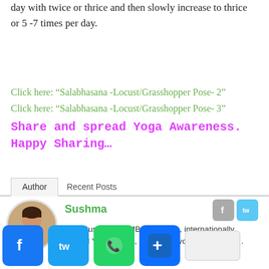day with twice or thrice and then slowly increase to thrice or 5 -7 times per day.
Click here: “Salabhasana -Locust/Grasshopper Pose- 2”
Click here: “Salabhasana -Locust/Grasshopper Pose- 3”
Share and spread Yoga Awareness. Happy Sharing…
Author | Recent Posts
Sushma
I am Sushma, an MBA graduate, internationally trained Yoga expert, founder of yogatute.com. I ... vice.